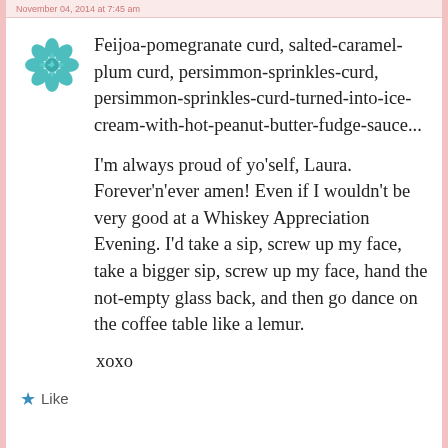November 04, 2014 at 7:45 am
[Figure (illustration): Teal decorative quilt/flower pattern avatar icon]
Feijoa-pomegranate curd, salted-caramel-plum curd, persimmon-sprinkles-curd, persimmon-sprinkles-curd-turned-into-ice-cream-with-hot-peanut-butter-fudge-sauce...
I'm always proud of yo'self, Laura. Forever'n'ever amen! Even if I wouldn't be very good at a Whiskey Appreciation Evening. I'd take a sip, screw up my face, take a bigger sip, screw up my face, hand the not-empty glass back, and then go dance on the coffee table like a lemur.
xoxo
★ Like